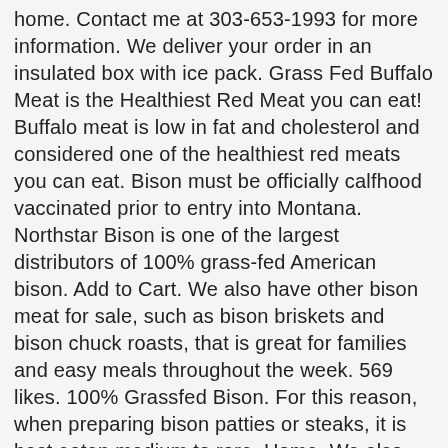home. Contact me at 303-653-1993 for more information. We deliver your order in an insulated box with ice pack. Grass Fed Buffalo Meat is the Healthiest Red Meat you can eat! Buffalo meat is low in fat and cholesterol and considered one of the healthiest red meats you can eat. Bison must be officially calfhood vaccinated prior to entry into Montana. Northstar Bison is one of the largest distributors of 100% grass-fed American bison. Add to Cart. We also have other bison meat for sale, such as bison briskets and bison chuck roasts, that is great for families and easy meals throughout the week. 569 likes. 100% Grassfed Bison. For this reason, when preparing bison patties or steaks, it is best eaten medium to rare. Home. We also have gone to three International Bison Conferences: South Dakota, Quebec City and Montana. Order today and see why everything is better with bison! Robes; Skulls; Misc; Contact Us . Rapelje Bison Ranch is a low overhead livestock and dryland farm operation in the famed ranch county of central Montana. Open-ranged in Colorado, humanely raised,